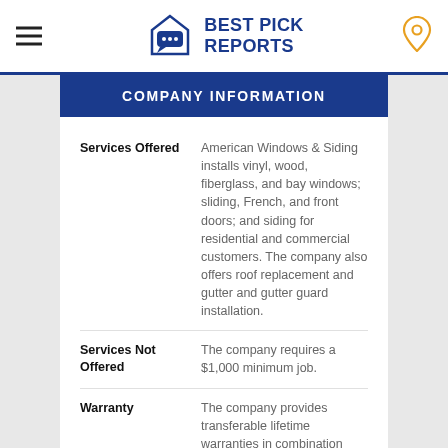[Figure (logo): Best Pick Reports logo with house/chat bubble icon]
COMPANY INFORMATION
| Field | Value |
| --- | --- |
| Services Offered | American Windows & Siding installs vinyl, wood, fiberglass, and bay windows; sliding, French, and front doors; and siding for residential and commercial customers. The company also offers roof replacement and gutter and gutter guard installation. |
| Services Not Offered | The company requires a $1,000 minimum job. |
| Warranty | The company provides transferable lifetime warranties in combination with complete lifetime labor warranties. Additionally, most products are backed by a manufacturer's lifetime warranty. |
| Company History | American Windows & Siding's three owners, Edward Dunn, Charlie Gunn, and Mike Rogers, founded the company in 1991. |